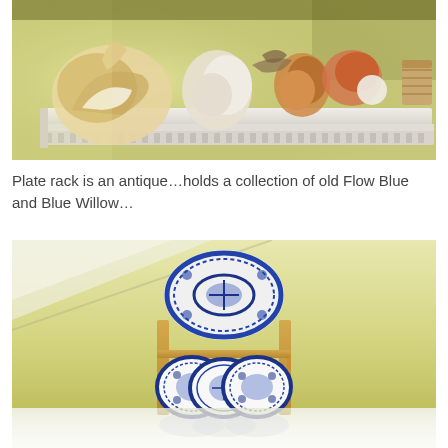[Figure (photo): A white decorative wall shelf displaying a collection of seashells and natural objects including large conch shells, coral, and various shells arranged on a white molded shelf against a yellow-green wall.]
Plate rack is an antique…holds a collection of old Flow Blue and Blue Willow…
[Figure (photo): A wooden plate rack mounted on a yellow wall displaying blue and white Flow Blue and Blue Willow china plates. One large oval platter is displayed above the rack, and three plates sit in the rack's grooves. The bottom of the image shows a faded reflection.]